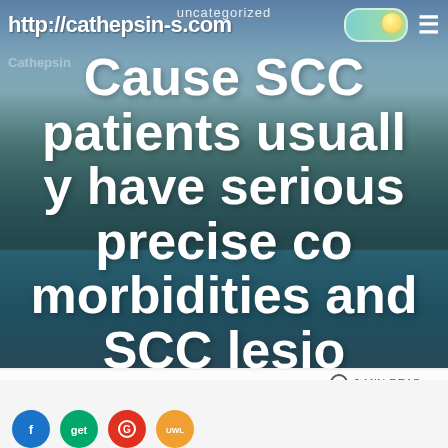uncategorized
http://cathepsin-s.com
Cause SCC patients usually have serious precise comorbidities and SCC lesions possess a higher danger
NOVEMBER 8, 2018  UPDATED NOVEMBER 8, 2018  2 MIN READ
> uncategorized > Cause SCC patients usually have